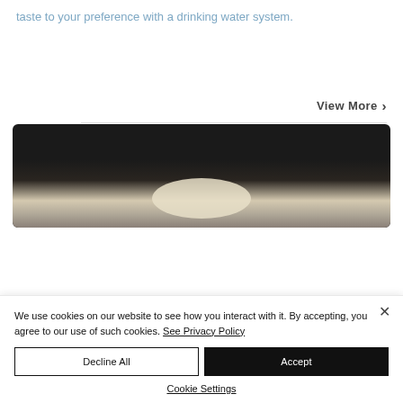taste to your preference with a drinking water system.
View More >
[Figure (photo): Dark background product photo showing ceramic or stone-like objects with beige/cream tones]
We use cookies on our website to see how you interact with it. By accepting, you agree to our use of such cookies. See Privacy Policy
Decline All
Accept
Cookie Settings